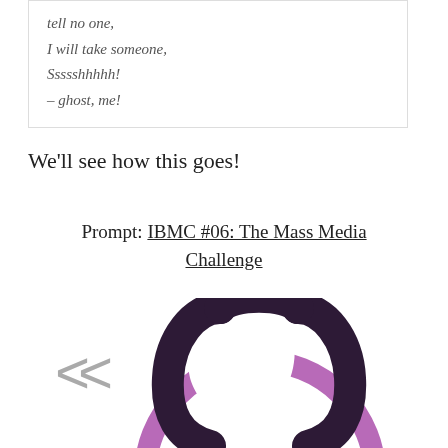tell no one,
I will take someone,
Ssssshhhh!
– ghost, me!
We'll see how this goes!
Prompt: IBMC #06: The Mass Media Challenge
[Figure (logo): A dark purple triquetra-like symbol (interlocking loops forming an arch shape) over a purple circle, partially visible; navigation chevron '<<' in grey on the left side.]